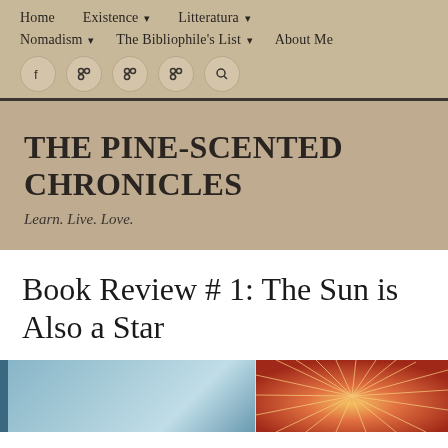Home | Existence ▾ | Litteratura ▾ | Nomadism ▾ | The Bibliophile's List ▾ | About Me
THE PINE-SCENTED CHRONICLES
Learn. Live. Love.
Book Review # 1: The Sun is Also a Star
[Figure (photo): Book cover image showing blue sky on left and colorful starburst pattern on right with text '#1 NEW YORK TIMES BESTSELLING AUTHOR OF EVERYTHING, EVERYTHING']